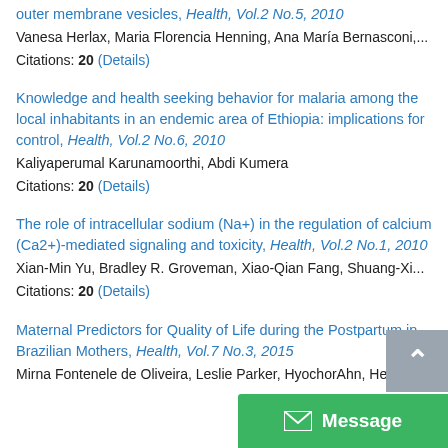outer membrane vesicles, Health, Vol.2 No.5, 2010
Vanesa Herlax, Maria Florencia Henning, Ana María Bernasconi,...
Citations: 20 (Details)
Knowledge and health seeking behavior for malaria among the local inhabitants in an endemic area of Ethiopia: implications for control, Health, Vol.2 No.6, 2010
Kaliyaperumal Karunamoorthi, Abdi Kumera
Citations: 20 (Details)
The role of intracellular sodium (Na+) in the regulation of calcium (Ca2+)-mediated signaling and toxicity, Health, Vol.2 No.1, 2010
Xian-Min Yu, Bradley R. Groveman, Xiao-Qian Fang, Shuang-Xi...
Citations: 20 (Details)
Maternal Predictors for Quality of Life during the Postpartum in Brazilian Mothers, Health, Vol.7 No.3, 2015
Mirna Fontenele de Oliveira, Leslie Parker, HyochorAhn, Helen...